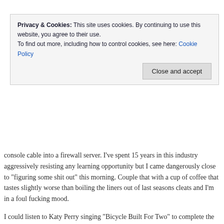I'm at work far too early this morning because some fart console cable into a firewall server. I've spent 15 years in this industry aggressively resisting any learning opportunity but I came dangerously close to “figuring some shit out” this morning. Couple that with a cup of coffee that tastes slightly worse than boiling the liners out of last seasons cleats and I’m in a foul fucking mood.
Privacy & Cookies: This site uses cookies. By continuing to use this website, you agree to their use.
To find out more, including how to control cookies, see here: Cookie Policy
Close and accept
I could listen to Katy Perry singing “Bicycle Built For Two” to complete the Trifecta of Enduring Misery but I’m not quite ready to suck down a red Solo cup of hemlock so instead I dialed up some Cannibal Corpse: specifically the first album, Eaten Back to Life.
Continue reading →